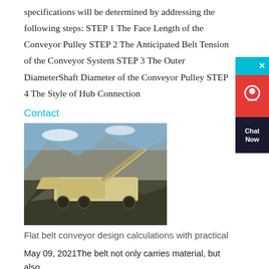specifications will be determined by addressing the following steps: STEP 1 The Face Length of the Conveyor Pulley STEP 2 The Anticipated Belt Tension of the Conveyor System STEP 3 The Outer DiameterShaft Diameter of the Conveyor Pulley STEP 4 The Style of Hub Connection
Contact
[Figure (photo): Outdoor photo of a flat belt conveyor system at a quarry or mining site with large machinery and rock piles in the background.]
Flat belt conveyor design calculations with practical
May 09, 2021The belt not only carries material, but also